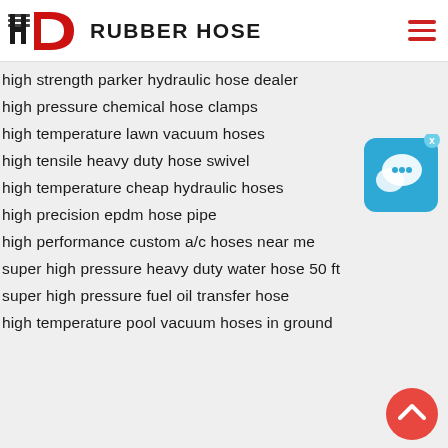HD RUBBER HOSE
high strength parker hydraulic hose dealer
high pressure chemical hose clamps
high temperature lawn vacuum hoses
high tensile heavy duty hose swivel
high temperature cheap hydraulic hoses
high precision epdm hose pipe
high performance custom a/c hoses near me
super high pressure heavy duty water hose 50 ft
super high pressure fuel oil transfer hose
high temperature pool vacuum hoses in ground
[Figure (screenshot): Blue chat widget icon with speech bubble and close button]
[Figure (illustration): Red circular back-to-top arrow button]